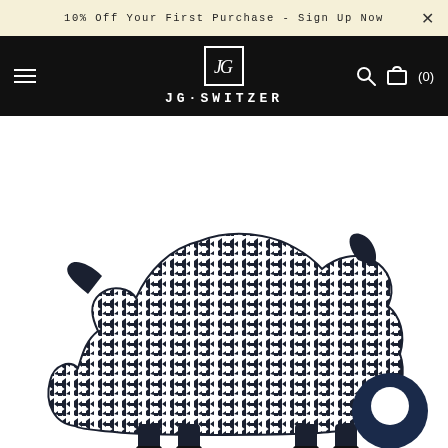10% Off Your First Purchase - Sign Up Now
JG·SWITZER
[Figure (illustration): Black and white illustration of a sheep/lamb filled with a geometric repeating arrow/chevron pattern. The sheep is shown in profile facing left, with solid black ears and hooves. The body is filled with a dense interlocking angular pattern in dark navy/black on white.]